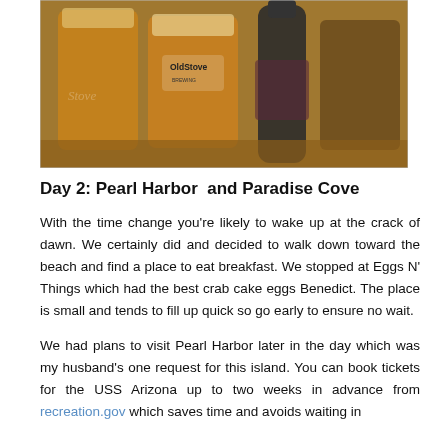[Figure (photo): Photo of two glasses of beer with 'Old Stove' branding and a dark bottle on a table at a brewery]
Day 2: Pearl Harbor and Paradise Cove
With the time change you're likely to wake up at the crack of dawn. We certainly did and decided to walk down toward the beach and find a place to eat breakfast. We stopped at Eggs N' Things which had the best crab cake eggs Benedict. The place is small and tends to fill up quick so go early to ensure no wait.
We had plans to visit Pearl Harbor later in the day which was my husband's one request for this island. You can book tickets for the USS Arizona up to two weeks in advance from recreation.gov which saves time and avoids waiting in